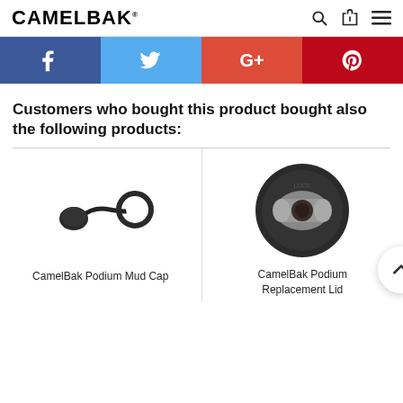CAMELBAK
[Figure (other): Social media share buttons: Facebook (blue), Twitter (light blue), Google+ (orange-red), Pinterest (dark red)]
Customers who bought this product bought also the following products:
[Figure (photo): CamelBak Podium Mud Cap - a small dark rubber cap with a ring attached via a strap]
CamelBak Podium Mud Cap
[Figure (photo): CamelBak Podium Replacement Lid - a dark circular lid with a grey/silver locking mechanism in the center]
CamelBak Podium Replacement Lid